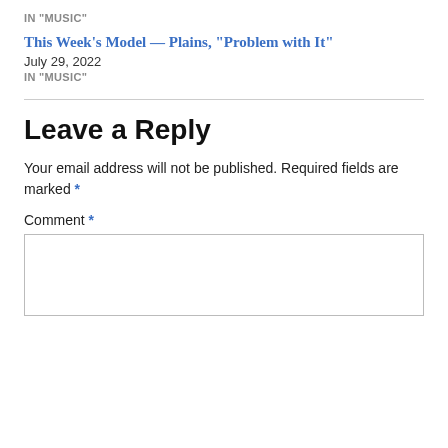IN "MUSIC"
This Week's Model — Plains, "Problem with It"
July 29, 2022
IN "MUSIC"
Leave a Reply
Your email address will not be published. Required fields are marked *
Comment *